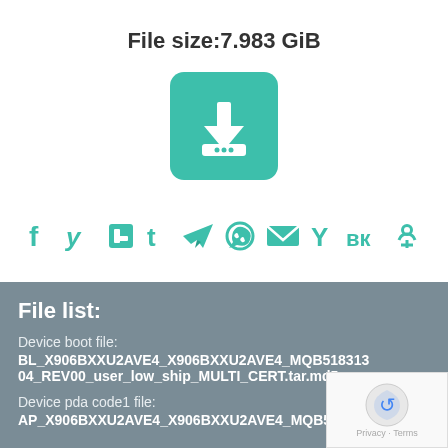File size:7.983 GiB
[Figure (illustration): Teal rounded square download button icon with a downward arrow and a horizontal bar with two dots]
[Figure (illustration): Row of social sharing icons in teal: Facebook, Twitter, Tumblr, Telegram, WhatsApp, Email, Yandex, VK, Odnoklassniki]
File list:
Device boot file:
BL_X906BXXU2AVE4_X906BXXU2AVE4_MQB51831304_REV00_user_low_ship_MULTI_CERT.tar.md5
Device pda code1 file:
AP_X906BXXU2AVE4_X906BXXU2AVE4_MQB518313...